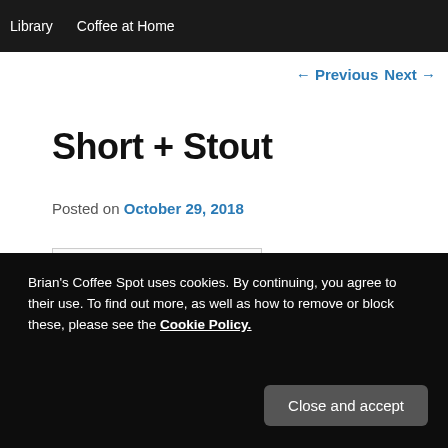Library   Coffee at Home
← Previous   Next →
Short + Stout
Posted on October 29, 2018
[Figure (photo): Partially visible image placeholder box]
Brian's Coffee Spot uses cookies. By continuing, you agree to their use. To find out more, as well as how to remove or block these, please see the Cookie Policy.